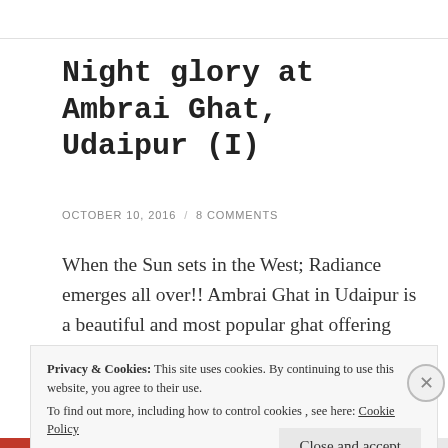Night glory at Ambrai Ghat, Udaipur (I)
OCTOBER 10, 2016  /  8 COMMENTS
When the Sun sets in the West; Radiance emerges all over!! Ambrai Ghat in Udaipur is a beautiful and most popular ghat offering uninterrupted view of the Lal Ghat and the City Palace. The strategic location makes it a must visit !! The illuminated City Palace gives a feel of a
Privacy & Cookies: This site uses cookies. By continuing to use this website, you agree to their use.
To find out more, including how to control cookies, see here: Cookie Policy
Close and accept